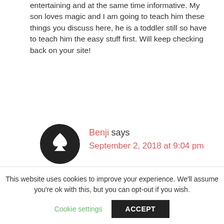entertaining and at the same time informative. My son loves magic and I am going to teach him these things you discuss here, he is a toddler still so have to teach him the easy stuff first. Will keep checking back on your site!
Reply
[Figure (illustration): Circular avatar showing a playing card ace of spades on a black and white background]
Benji says September 2, 2018 at 9:04 pm
This website uses cookies to improve your experience. We'll assume you're ok with this, but you can opt-out if you wish.
Cookie settings  ACCEPT